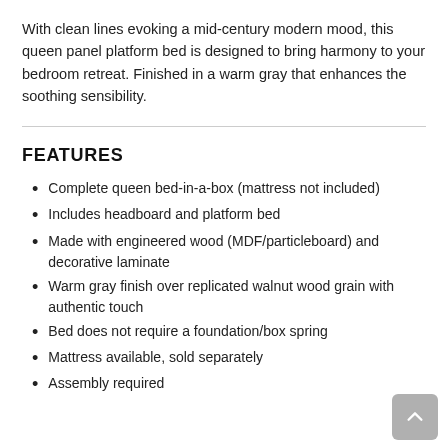With clean lines evoking a mid-century modern mood, this queen panel platform bed is designed to bring harmony to your bedroom retreat. Finished in a warm gray that enhances the soothing sensibility.
FEATURES
Complete queen bed-in-a-box (mattress not included)
Includes headboard and platform bed
Made with engineered wood (MDF/particleboard) and decorative laminate
Warm gray finish over replicated walnut wood grain with authentic touch
Bed does not require a foundation/box spring
Mattress available, sold separately
Assembly required